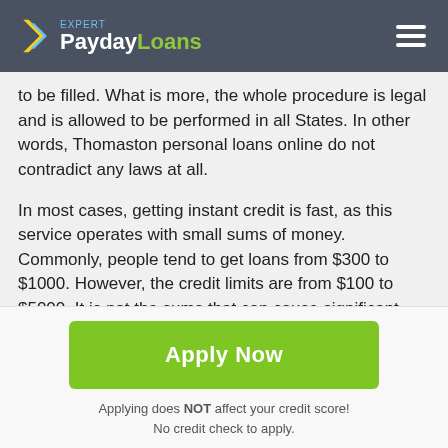Expert PaydayLoans
to be filled. What is more, the whole procedure is legal and is allowed to be performed in all States. In other words, Thomaston personal loans online do not contradict any laws at all.
In most cases, getting instant credit is fast, as this service operates with small sums of money. Commonly, people tend to get loans from $300 to $1000. However, the credit limits are from $100 to $5000. It is not the sums that can cause significant problems in getting a loan back. Nevertheless, it is highly recommended to give back all the money as it is
Apply Now
Applying does NOT affect your credit score!
No credit check to apply.